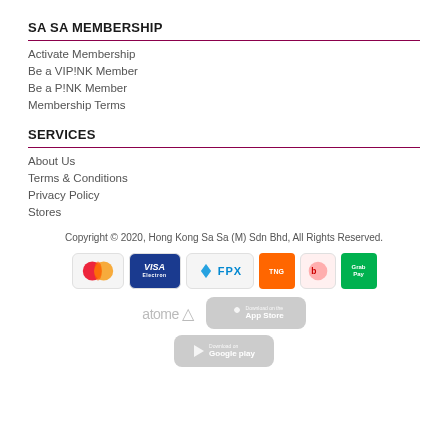SA SA MEMBERSHIP
Activate Membership
Be a VIP!NK Member
Be a P!NK Member
Membership Terms
SERVICES
About Us
Terms & Conditions
Privacy Policy
Stores
Copyright © 2020, Hong Kong Sa Sa (M) Sdn Bhd, All Rights Reserved.
[Figure (logo): Payment method logos: Mastercard, Visa Electron, FPX, Touch & Go, Boost, GrabPay, Atome. App download badges: App Store, Google Play.]